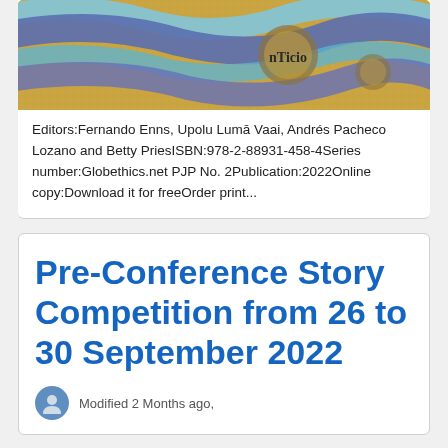[Figure (illustration): Book cover image showing mosaic artwork with blue wave ribbons and the text 'nTicio' on a golden mosaic background]
Editors:Fernando Enns, Upolu Lumā Vaai, Andrés Pacheco Lozano and Betty PriesISBN:978-2-88931-458-4Series number:Globethics.net PJP No. 2Publication:2022Online copy:Download it for freeOrder print...
Pre-Conference Story Competition from 26 to 30 September 2022
Modified 2 Months ago,